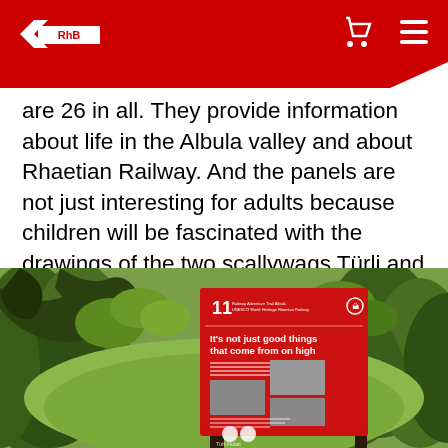RhB logo and navigation icons
are 26 in all. They provide information about life in the Albula valley and about Rhaetian Railway. And the panels are not just interesting for adults because children will be fascinated with the drawings of the two scallywags Türli and Flidari who have plenty of stories to tell.
[Figure (photo): Outdoor information panel number 11 for the Railway Adventure Trail Albula / UNESCO World Heritage Rhaetian Railway, set in a green alpine forest landscape. The red panel reads 'It's not just good things that come from on high' and features historical black and white photographs.]